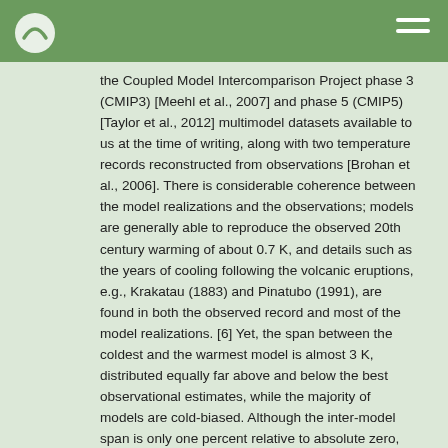the Coupled Model Intercomparison Project phase 3 (CMIP3) [Meehl et al., 2007] and phase 5 (CMIP5) [Taylor et al., 2012] multimodel datasets available to us at the time of writing, along with two temperature records reconstructed from observations [Brohan et al., 2006]. There is considerable coherence between the model realizations and the observations; models are generally able to reproduce the observed 20th century warming of about 0.7 K, and details such as the years of cooling following the volcanic eruptions, e.g., Krakatau (1883) and Pinatubo (1991), are found in both the observed record and most of the model realizations. [6] Yet, the span between the coldest and the warmest model is almost 3 K, distributed equally far above and below the best observational estimates, while the majority of models are cold-biased. Although the inter-model span is only one percent relative to absolute zero, that argument fails to be reassuring. Relative to the 20th century warming the span is a factor four larger, while it is about the same as our best estimate of the climate response to a doubling of CO2, and about half the difference between the last glacial maximum and present. To parameterized processes that are non-linearly dependent on the absolute temperature it is a prerequisite that they be exposed to